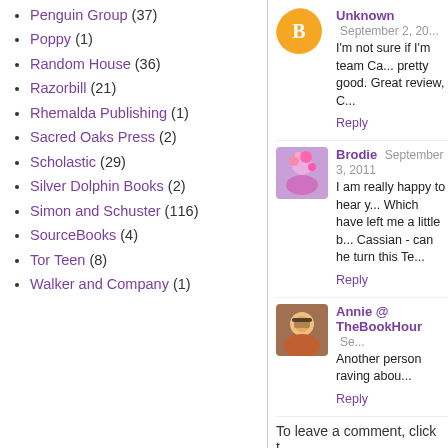Penguin Group (37)
Poppy (1)
Random House (36)
Razorbill (21)
Rhemalda Publishing (1)
Sacred Oaks Press (2)
Scholastic (29)
Silver Dolphin Books (2)
Simon and Schuster (116)
SourceBooks (4)
Tor Teen (8)
Walker and Company (1)
Unknown  September 2, 20...
I'm not sure if I'm team Ca... pretty good. Great review, C...
Reply
Brodie  September 3, 2011
I am really happy to hear y... Which have left me a little b... Cassian - can he turn this Te...
Reply
Annie @ TheBookHour  Se...
Another person raving abou...
Reply
To leave a comment, click t...
SIGN IN WITH GOOGLE